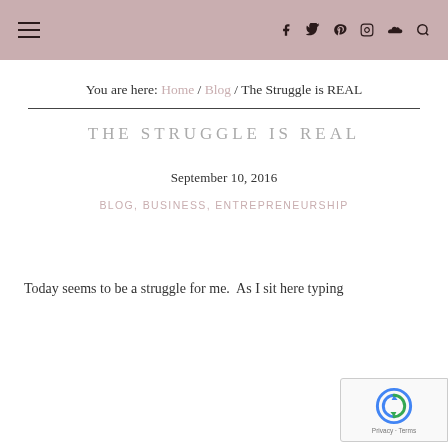≡   f  t  p  ◎  ☁  🔍
You are here: Home / Blog / The Struggle is REAL
THE STRUGGLE IS REAL
September 10, 2016
BLOG, BUSINESS, ENTREPRENEURSHIP
Today seems to be a struggle for me.  As I sit here typing